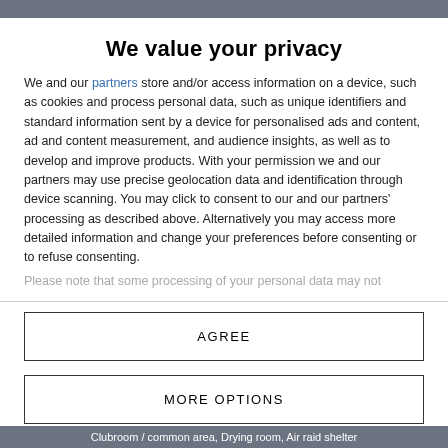We value your privacy
We and our partners store and/or access information on a device, such as cookies and process personal data, such as unique identifiers and standard information sent by a device for personalised ads and content, ad and content measurement, and audience insights, as well as to develop and improve products. With your permission we and our partners may use precise geolocation data and identification through device scanning. You may click to consent to our and our partners' processing as described above. Alternatively you may access more detailed information and change your preferences before consenting or to refuse consenting.
Please note that some processing of your personal data may not
AGREE
MORE OPTIONS
Clubroom / common area, Drying room, Air raid shelter